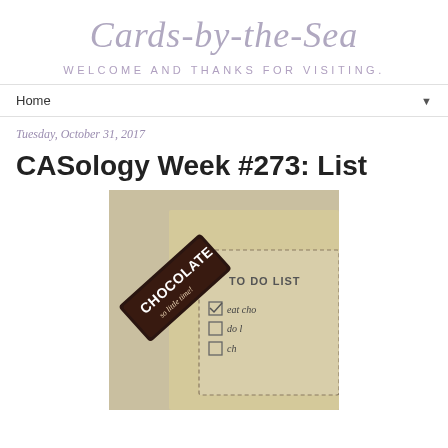Cards-by-the-Sea
WELCOME AND THANKS FOR VISITING.
Home ▼
Tuesday, October 31, 2017
CASology Week #273: List
[Figure (photo): A kraft paper card with a 'TO DO LIST' stamp partially visible, showing checkboxes and handwritten-style text reading 'eat cho', 'do l', and a third item. A dark brown label/sticker reading 'CHOCOLATE so little time!' is placed diagonally across the card.]